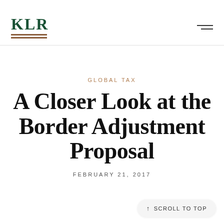KLR
GLOBAL TAX
A Closer Look at the Border Adjustment Proposal
FEBRUARY 21, 2017
↑ SCROLL TO TOP